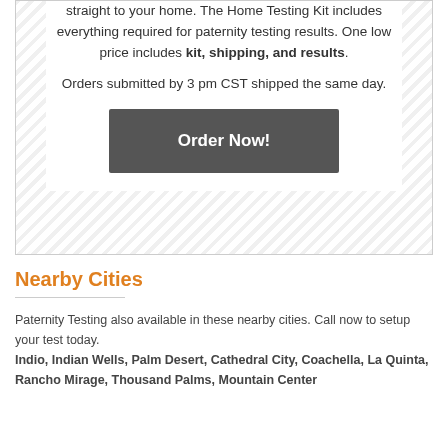straight to your home. The Home Testing Kit includes everything required for paternity testing results. One low price includes kit, shipping, and results. Orders submitted by 3 pm CST shipped the same day.
Order Now!
Nearby Cities
Paternity Testing also available in these nearby cities. Call now to setup your test today. Indio, Indian Wells, Palm Desert, Cathedral City, Coachella, La Quinta, Rancho Mirage, Thousand Palms, Mountain Center